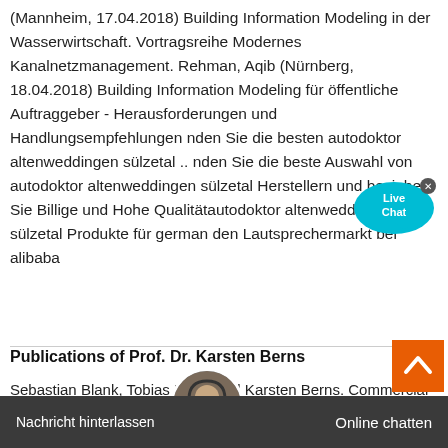(Mannheim, 17.04.2018) Building Information Modeling in der Wasserwirtschaft. Vortragsreihe Modernes Kanalnetzmanagement. Rehman, Aqib (Nürnberg, 18.04.2018) Building Information Modeling für öffentliche Auftraggeber - Herausforderungen und Handlungsempfehlungen nden Sie die besten autodoktor altenweddingen sülzetal .. nden Sie die beste Auswahl von autodoktor altenweddingen sülzetal Herstellern und beziehen Sie Billige und Hohe Qualitätautodoktor altenweddingen sülzetal Produkte für german den Lautsprechermarkt bei alibaba
[Figure (other): Live Chat bubble widget — cyan speech bubble with 'Live Chat' text and a close X button]
Publications of Prof. Dr. Karsten Berns
Sebastian Blank, Tobias Föhst and Karsten Berns. Commercial Vehicle Technology 2010 - Proceedings of the 1st Commercial Vehicle Technology Symposium (CVT
[Figure (other): Customer support avatar — circular photo of a woman wearing a headset]
[Figure (other): Orange scroll-to-top button with an upward chevron arrow]
Nachricht hinterlassen          Online chatten